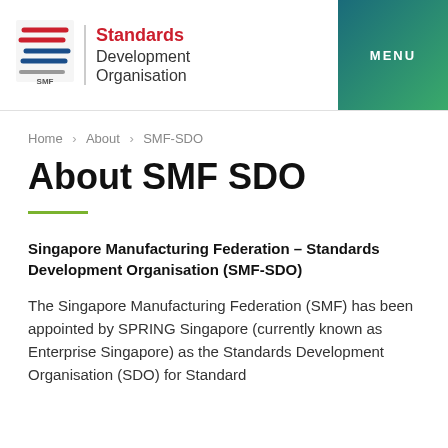[Figure (logo): Standards Development Organisation (SMF-SDO) logo with stylized S emblem and red/black text, plus MENU button with teal-to-green gradient]
Home > About > SMF-SDO
About SMF SDO
Singapore Manufacturing Federation – Standards Development Organisation (SMF-SDO)
The Singapore Manufacturing Federation (SMF) has been appointed by SPRING Singapore (currently known as Enterprise Singapore) as the Standards Development Organisation (SDO) for Standard